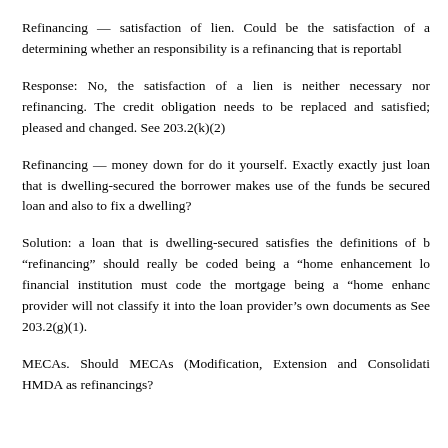Refinancing — satisfaction of lien. Could be the satisfaction of a determining whether an responsibility is a refinancing that is reportabl
Response: No, the satisfaction of a lien is neither necessary nor refinancing. The credit obligation needs to be replaced and satisfied; pleased and changed. See 203.2(k)(2)
Refinancing — money down for do it yourself. Exactly exactly just loan that is dwelling-secured the borrower makes use of the funds be secured loan and also to fix a dwelling?
Solution: a loan that is dwelling-secured satisfies the definitions of b "refinancing" should really be coded being a "home enhancement lo financial institution must code the mortgage being a "home enhanc provider will not classify it into the loan provider's own documents as See 203.2(g)(1).
MECAs. Should MECAs (Modification, Extension and Consolidati HMDA as refinancings?